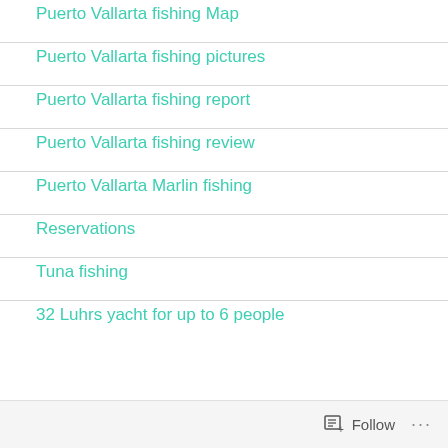Puerto Vallarta fishing Map
Puerto Vallarta fishing pictures
Puerto Vallarta fishing report
Puerto Vallarta fishing review
Puerto Vallarta Marlin fishing
Reservations
Tuna fishing
32 Luhrs yacht for up to 6 people
Follow